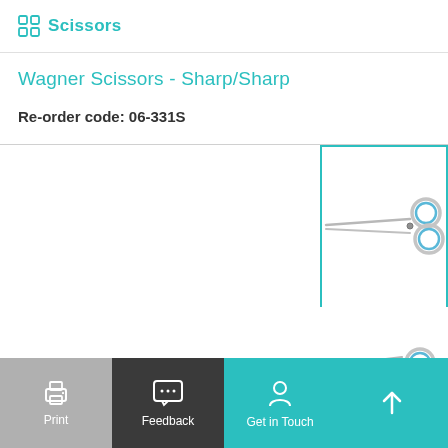Scissors
Wagner Scissors - Sharp/Sharp
Re-order code: 06-331S
[Figure (photo): Wagner Scissors - Sharp/Sharp, full view of scissors with blue ring handle, shown horizontally. Product image in teal-bordered box.]
[Figure (photo): Close-up of scissors handle ring with blue coating, partial view.]
[Figure (photo): Wagner Scissors - Sharp/Sharp, second angle view, partial.]
Print  Feedback  Get in Touch  ↑